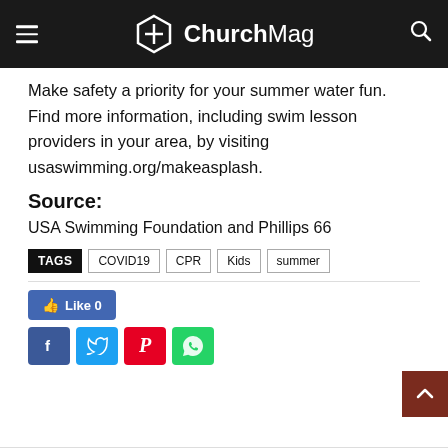ChurchMag
Make safety a priority for your summer water fun. Find more information, including swim lesson providers in your area, by visiting usaswimming.org/makeasplash.
Source:
USA Swimming Foundation and Phillips 66
TAGS  COVID19  CPR  Kids  summer
[Figure (screenshot): Facebook Like button showing Like 0, followed by Facebook, Twitter, Pinterest, and WhatsApp share buttons]